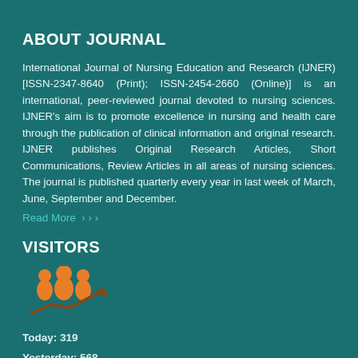ABOUT JOURNAL
International Journal of Nursing Education and Research (IJNER) [ISSN-2347-8640 (Print); ISSN-2454-2660 (Online)] is an international, peer-reviewed journal devoted to nursing sciences. IJNER's aim is to promote excellence in nursing and health care through the publication of clinical information and original research. IJNER publishes Original Research Articles, Short Communications, Review Articles in all areas of nursing sciences. The journal is published quarterly every year in last week of March, June, September and December.
Read More >>>
VISITORS
[Figure (illustration): Orange icon of three people figures with an upward trending arrow beneath, representing visitor growth statistics]
Today: 319
Yesterday: 568